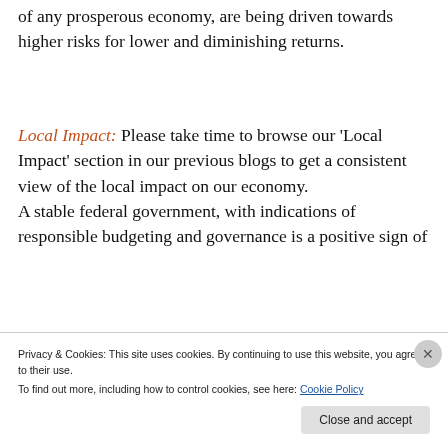of any prosperous economy, are being driven towards higher risks for lower and diminishing returns.
Local Impact: Please take time to browse our 'Local Impact' section in our previous blogs to get a consistent view of the local impact on our economy. A stable federal government, with indications of responsible budgeting and governance is a positive sign of
Privacy & Cookies: This site uses cookies. By continuing to use this website, you agree to their use. To find out more, including how to control cookies, see here: Cookie Policy
Close and accept